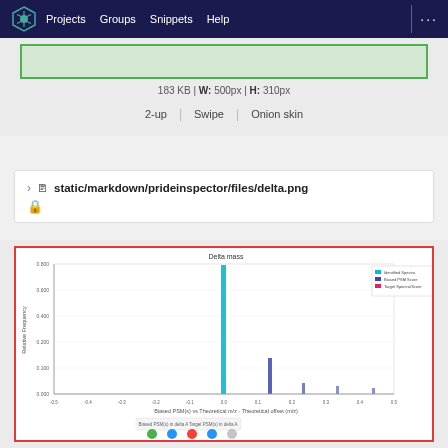Projects  Groups  Snippets  Help
183 KB | W: 500px | H: 310px
2-up  |  Swipe  |  Onion skin
static/markdown/prideinspector/files/delta.png
[Figure (continuous-plot): Delta mass chart showing a sharp spike near 0 on x-axis (Biased PSM(s) vs Theoretical m/z), with smaller peaks at positive values. Y-axis labeled 'Relative Frequency'. Legend shows 'Identified Spectra', 'Biased PSM Score', 'Target Spectra/Score'. Chart title: Delta mass.]